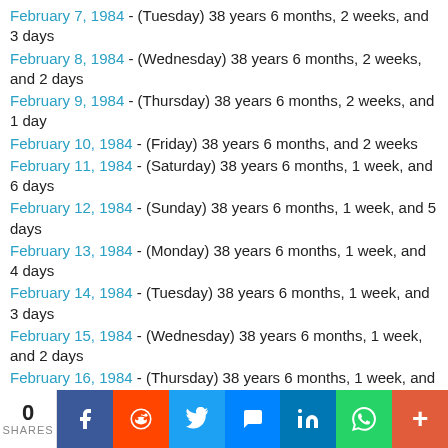February 7, 1984 - (Tuesday) 38 years 6 months, 2 weeks, and 3 days
February 8, 1984 - (Wednesday) 38 years 6 months, 2 weeks, and 2 days
February 9, 1984 - (Thursday) 38 years 6 months, 2 weeks, and 1 day
February 10, 1984 - (Friday) 38 years 6 months, and 2 weeks
February 11, 1984 - (Saturday) 38 years 6 months, 1 week, and 6 days
February 12, 1984 - (Sunday) 38 years 6 months, 1 week, and 5 days
February 13, 1984 - (Monday) 38 years 6 months, 1 week, and 4 days
February 14, 1984 - (Tuesday) 38 years 6 months, 1 week, and 3 days
February 15, 1984 - (Wednesday) 38 years 6 months, 1 week, and 2 days
February 16, 1984 - (Thursday) 38 years 6 months, 1 week, and 1 day